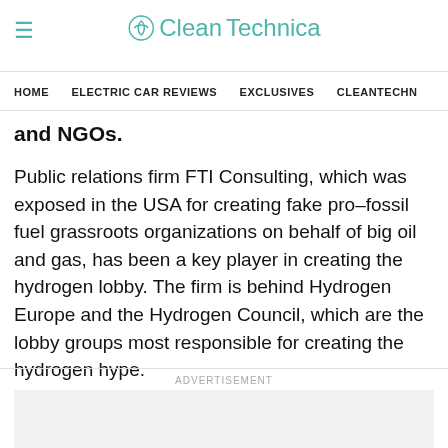CleanTechnica
HOME   ELECTRIC CAR REVIEWS   EXCLUSIVES   CLEANTECHN
and NGOs.
Public relations firm FTI Consulting, which was exposed in the USA for creating fake pro-fossil fuel grassroots organizations on behalf of big oil and gas, has been a key player in creating the hydrogen lobby. The firm is behind Hydrogen Europe and the Hydrogen Council, which are the lobby groups most responsible for creating the hydrogen hype.
ADVERTISEMENT